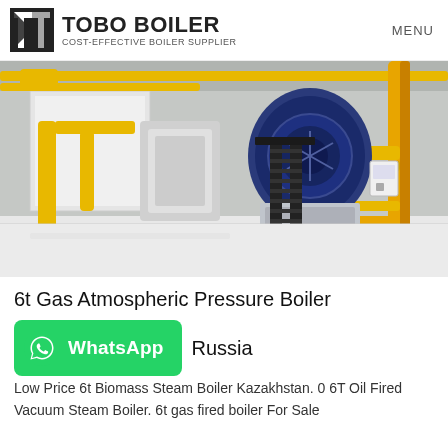TOBO BOILER COST-EFFECTIVE BOILER SUPPLIER | MENU
[Figure (photo): Industrial boiler room with large blue gas boilers, yellow pipes, black metal staircases, and white flooring. Multiple large boiler units are installed in a factory setting.]
6t Gas Atmospheric Pressure Boiler
Russia
Low Price 6t Biomass Steam Boiler Kazakhstan. 0 6T Oil Fired Vacuum Steam Boiler. 6t gas fired boiler For Sale